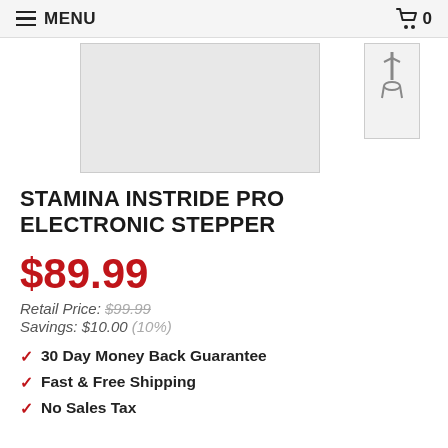≡ MENU  🛒 0
[Figure (photo): Product image of Stamina InStride Pro Electronic Stepper — main large image placeholder (grey rectangle) and small thumbnail on right]
STAMINA INSTRIDE PRO ELECTRONIC STEPPER
$89.99
Retail Price: $99.99
Savings: $10.00 (10%)
✓ 30 Day Money Back Guarantee
✓ Fast & Free Shipping
✓ No Sales Tax